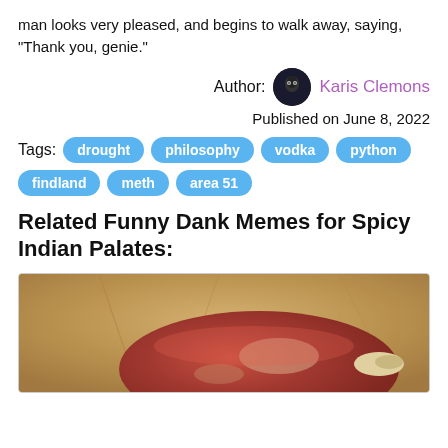man looks very pleased, and begins to walk away, saying, "Thank you, genie."
Author: Karis Clemons
Published on June 8, 2022
Tags: drought  philosophy  vodka  python  findland  meth  area 51
Related Funny Dank Memes for Spicy Indian Palates:
[Figure (photo): A raw meat/steak on brown kraft paper, partially visible at bottom of page]